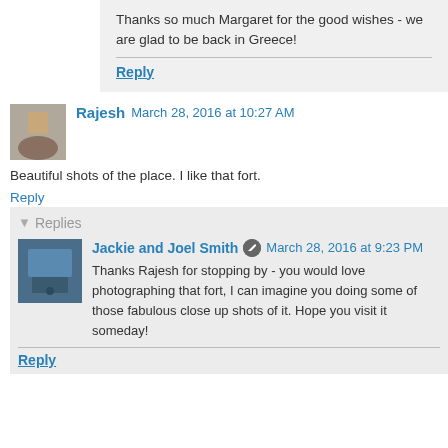Thanks so much Margaret for the good wishes - we are glad to be back in Greece!
Reply
Rajesh March 28, 2016 at 10:27 AM
Beautiful shots of the place. I like that fort.
Reply
Replies
Jackie and Joel Smith March 28, 2016 at 9:23 PM
Thanks Rajesh for stopping by - you would love photographing that fort, I can imagine you doing some of those fabulous close up shots of it. Hope you visit it someday!
Reply